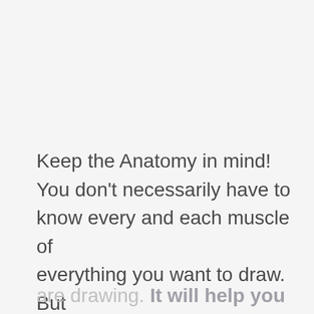Keep the Anatomy in mind! You don't necessarily have to know every and each muscle of everything you want to draw. But you should have a general understanding of what is underneath the thing, that you are drawing. It will help you a